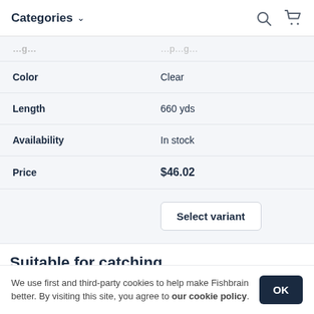Categories
|  |  |
| --- | --- |
|  | …p… |
| Color | Clear |
| Length | 660 yds |
| Availability | In stock |
| Price | $46.02 |
|  | Select variant |
Suitable for catching
We use first and third-party cookies to help make Fishbrain better. By visiting this site, you agree to our cookie policy.